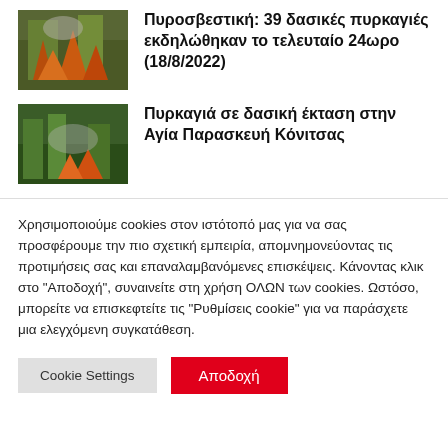[Figure (photo): Photo of forest fire with flames and firefighters]
Πυροσβεστική: 39 δασικές πυρκαγιές εκδηλώθηκαν το τελευταίο 24ωρο (18/8/2022)
[Figure (photo): Photo of forest fire in forested area]
Πυρκαγιά σε δασική έκταση στην Αγία Παρασκευή Κόνιτσας
Χρησιμοποιούμε cookies στον ιστότοπό μας για να σας προσφέρουμε την πιο σχετική εμπειρία, απομνημονεύοντας τις προτιμήσεις σας και επαναλαμβανόμενες επισκέψεις. Κάνοντας κλικ στο "Αποδοχή", συναινείτε στη χρήση ΟΛΩΝ των cookies. Ωστόσο, μπορείτε να επισκεφτείτε τις "Ρυθμίσεις cookie" για να παράσχετε μια ελεγχόμενη συγκατάθεση.
Cookie Settings
Αποδοχή